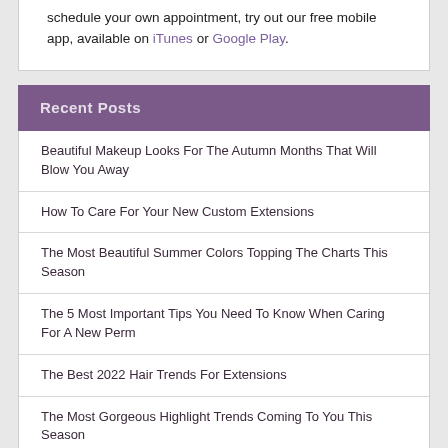or call 713.333.3331. If you prefer to instantly schedule your own appointment, try out our free mobile app, available on iTunes or Google Play.
Recent Posts
Beautiful Makeup Looks For The Autumn Months That Will Blow You Away
How To Care For Your New Custom Extensions
The Most Beautiful Summer Colors Topping The Charts This Season
The 5 Most Important Tips You Need To Know When Caring For A New Perm
The Best 2022 Hair Trends For Extensions
The Most Gorgeous Highlight Trends Coming To You This Season